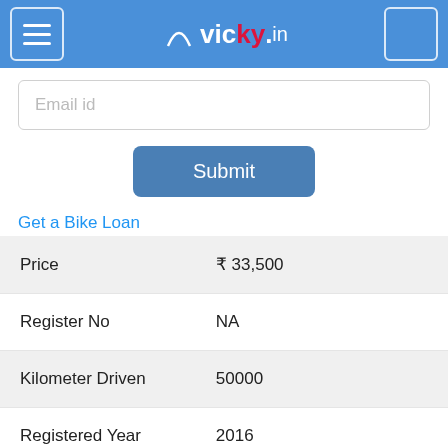vicky.in
Email id
Submit
Get a Bike Loan
| Field | Value |
| --- | --- |
| Price | ₹ 33,500 |
| Register No | NA |
| Kilometer Driven | 50000 |
| Registered Year | 2016 |
| Colour | NA |